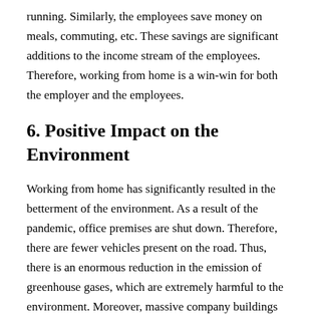running. Similarly, the employees save money on meals, commuting, etc. These savings are significant additions to the income stream of the employees. Therefore, working from home is a win-win for both the employer and the employees.
6. Positive Impact on the Environment
Working from home has significantly resulted in the betterment of the environment. As a result of the pandemic, office premises are shut down. Therefore, there are fewer vehicles present on the road. Thus, there is an enormous reduction in the emission of greenhouse gases, which are extremely harmful to the environment. Moreover, massive company buildings that emit lots of waste are now non-operational, thereby contributing to the emergence of a cleaner and greener environment.
7. Customizable Workspaces
Working from home gives employees a chance to create a workspace that they feel comfortable and productive in. Instead